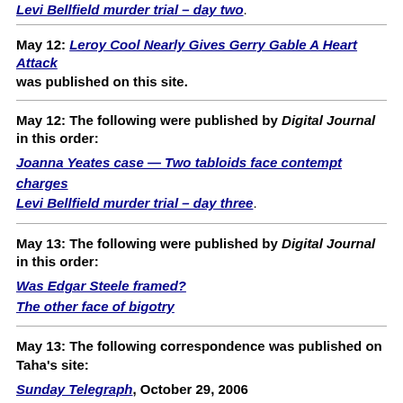Levi Bellfield murder trial – day two.
May 12: Leroy Cool Nearly Gives Gerry Gable A Heart Attack was published on this site.
May 12: The following were published by Digital Journal in this order:
Joanna Yeates case — Two tabloids face contempt charges
Levi Bellfield murder trial – day three.
May 13: The following were published by Digital Journal in this order:
Was Edgar Steele framed?
The other face of bigotry
May 13: The following correspondence was published on Taha's site:
Sunday Telegraph, October 29, 2006
The Telegraph, London, February 25, 2011...